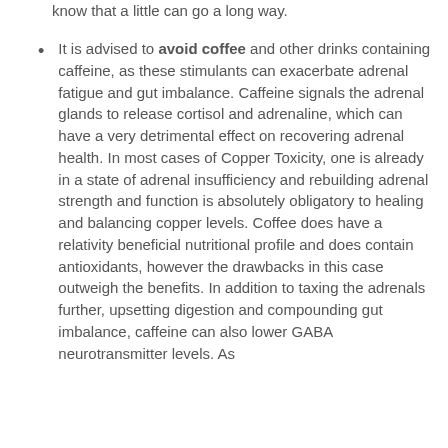know that a little can go a long way.
It is advised to avoid coffee and other drinks containing caffeine, as these stimulants can exacerbate adrenal fatigue and gut imbalance. Caffeine signals the adrenal glands to release cortisol and adrenaline, which can have a very detrimental effect on recovering adrenal health. In most cases of Copper Toxicity, one is already in a state of adrenal insufficiency and rebuilding adrenal strength and function is absolutely obligatory to healing and balancing copper levels. Coffee does have a relativity beneficial nutritional profile and does contain antioxidants, however the drawbacks in this case outweigh the benefits. In addition to taxing the adrenals further, upsetting digestion and compounding gut imbalance, caffeine can also lower GABA neurotransmitter levels. As